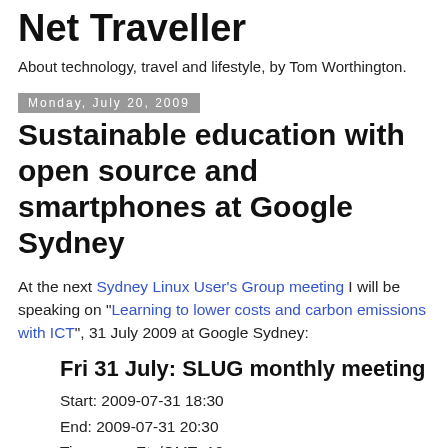Net Traveller
About technology, travel and lifestyle, by Tom Worthington.
Monday, July 20, 2009
Sustainable education with open source and smartphones at Google Sydney
At the next Sydney Linux User's Group meeting I will be speaking on "Learning to lower costs and carbon emissions with ICT", 31 July 2009 at Google Sydney:
Fri 31 July: SLUG monthly meeting
Start: 2009-07-31 18:30
End: 2009-07-31 20:30
Timezone: Etc/GMT+10
Location: Google Sydney, Level 5, 48 Pirrama Road, Pyrmont